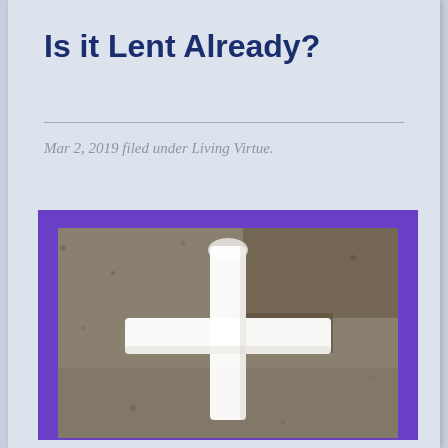Is it Lent Already?
Mar 2, 2019 filed under Living Virtue.
[Figure (photo): A white cross made of ash or sand on a dark sandy/gravelly surface, framed with a purple border. Lent-themed religious imagery.]